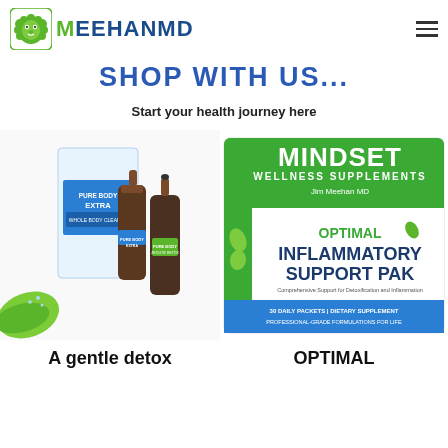[Figure (logo): MeehanMD logo with green lion head icon and blue/green text]
SHOP WITH US...
Start your health journey here
[Figure (photo): Pure Body Extra detox supplement product box and two amber dropper bottles with green leaf]
[Figure (photo): Mindset Wellness Supplements Optimal Inflammatory Support Pak box by Jim Meehan MD]
A gentle detox
OPTIMAL